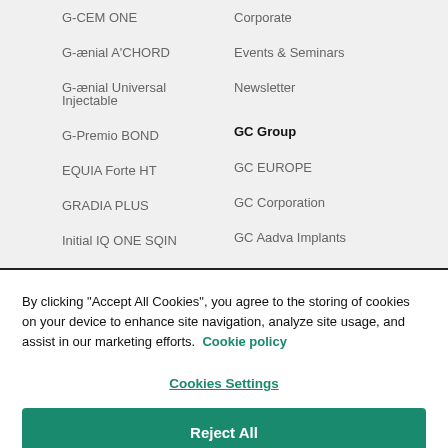G-CEM ONE
G-ænial A'CHORD
G-ænial Universal Injectable
G-Premio BOND
EQUIA Forte HT
GRADIA PLUS
Initial IQ ONE SQIN
Initial LiSi Block
Initial LiSi Press
Corporate
Events & Seminars
Newsletter
GC Group
GC EUROPE
GC Corporation
GC Aadva Implants
GC Orthodontics
GC International AG
By clicking "Accept All Cookies", you agree to the storing of cookies on your device to enhance site navigation, analyze site usage, and assist in our marketing efforts. Cookie policy
Cookies Settings
Reject All
Accept All Cookies